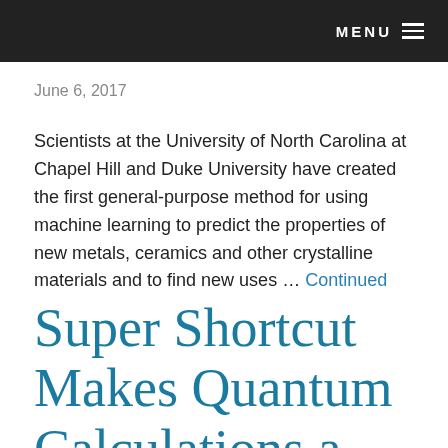MENU
June 6, 2017
Scientists at the University of North Carolina at Chapel Hill and Duke University have created the first general-purpose method for using machine learning to predict the properties of new metals, ceramics and other crystalline materials and to find new uses ... Continued
Super Shortcut Makes Quantum Calculations a